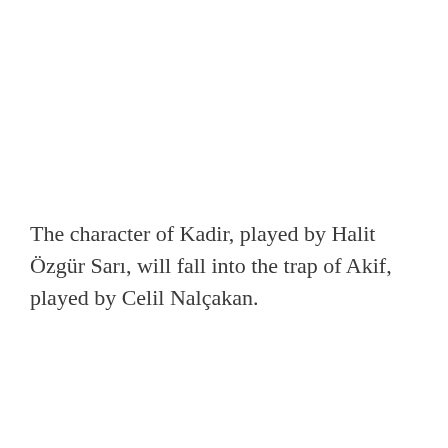The character of Kadir, played by Halit Özgür Sarı, will fall into the trap of Akif, played by Celil Nalçakan.